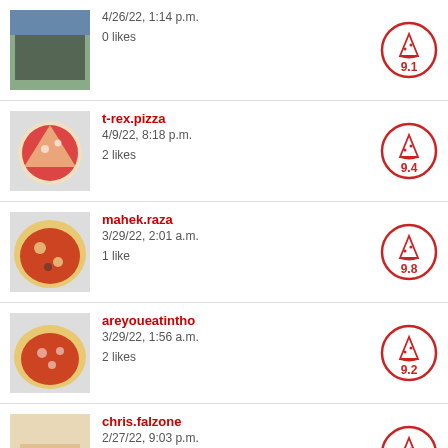4/26/22, 1:14 p.m. | 0 likes | score: 9.1
t-rex.pizza | 4/9/22, 8:18 p.m. | 2 likes | score: 9.4
mahek.raza | 3/29/22, 2:01 a.m. | 1 like | score: 9.8
areyoueatintho | 3/29/22, 1:56 a.m. | 2 likes | score: 9.2
chris.falzone | 2/27/22, 9:03 p.m. | 0 likes | score: 8.6